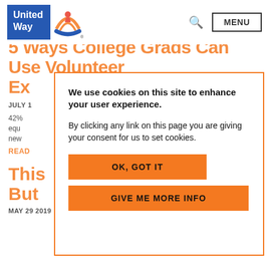[Figure (logo): United Way logo with blue text box and circular icon with orange arch and blue hands]
MENU
5 Ways College Grads Can Use Volunteer Ex…
JULY 1…
42%… equ… new…od
READ…
This… y. But…
MAY 29 2019
We use cookies on this site to enhance your user experience.

By clicking any link on this page you are giving your consent for us to set cookies.
OK, GOT IT
GIVE ME MORE INFO